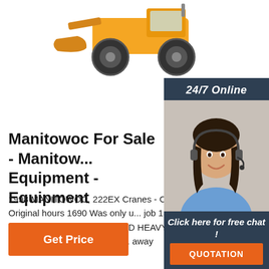[Figure (photo): Yellow wheel loader / front-end loader heavy equipment, cropped showing front wheels and bucket area, white background]
[Figure (photo): 24/7 Online chat support widget with a smiling woman wearing a headset, dark blue background, orange QUOTATION button]
Manitowoc For Sale - Manitowoc Equipment - Equipment
1998 MANITOWOC, 222EX Cranes - Crawler, Lattice Boom, Original hours 1690 Was only u... job 150' boom 3rd drum Block Ball Tagline Cont... BIG D HEAVY EQUIPMENT - Website Dallas, TX - 1,541 mi. away
[Figure (other): Get Price orange button]